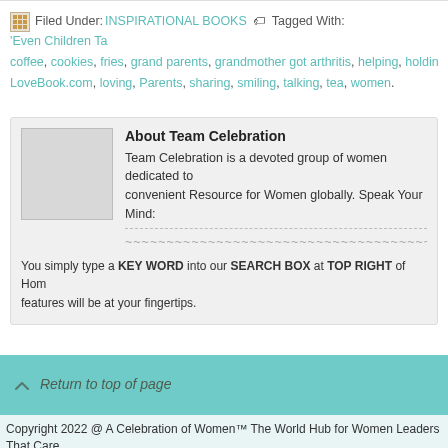Filed Under: INSPIRATIONAL BOOKS   Tagged With: 'Even Children Ta coffee, cookies, fries, grand parents, grandmother got arthritis, helping, holding LoveBook.com, loving, Parents, sharing, smiling, talking, tea, women.
About Team Celebration
Team Celebration is a devoted group of women dedicated to convenient Resource for Women globally. Speak Your Mind: ~~~~~~~~~~~~~~~~~~~~~~~~~~~~~~~~~~~~~~~~~~~~~~~~~~~~~~~~~~~~~~~~~~~ You simply type a KEY WORD into our SEARCH BOX at TOP RIGHT of Hom features will be at your fingertips.
Return to top of page
Copyright 2022 @ A Celebration of Women™ The World Hub for Women Leaders That Care